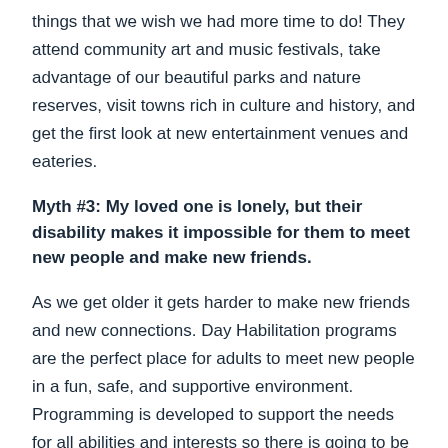things that we wish we had more time to do! They attend community art and music festivals, take advantage of our beautiful parks and nature reserves, visit towns rich in culture and history, and get the first look at new entertainment venues and eateries.
Myth #3: My loved one is lonely, but their disability makes it impossible for them to meet new people and make new friends.
As we get older it gets harder to make new friends and new connections. Day Habilitation programs are the perfect place for adults to meet new people in a fun, safe, and supportive environment. Programming is developed to support the needs for all abilities and interests so there is going to be something for everyone. Human Services professionals on-site and out in the